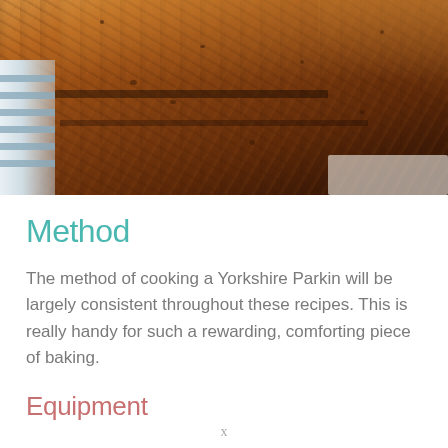[Figure (photo): Close-up photograph of Yorkshire Parkin squares stacked on a plate with blue stripes, showing the dense, moist, golden-brown oat and ginger cake texture.]
Method
The method of cooking a Yorkshire Parkin will be largely consistent throughout these recipes. This is really handy for such a rewarding, comforting piece of baking.
Equipment